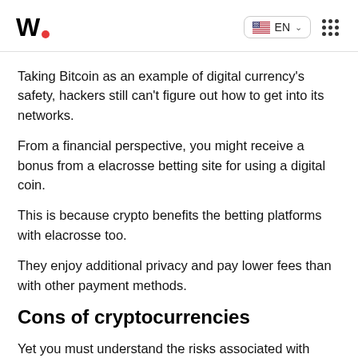W• EN
Taking Bitcoin as an example of digital currency's safety, hackers still can't figure out how to get into its networks.
From a financial perspective, you might receive a bonus from a elacrosse betting site for using a digital coin.
This is because crypto benefits the betting platforms with elacrosse too.
They enjoy additional privacy and pay lower fees than with other payment methods.
Cons of cryptocurrencies
Yet you must understand the risks associated with using digital currency.
Once you make a digital currency transfer, it is non-reversible.